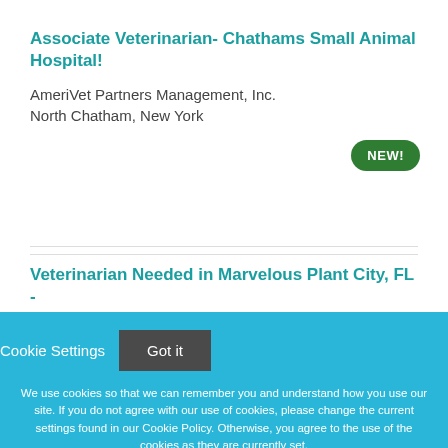Associate Veterinarian- Chathams Small Animal Hospital!
AmeriVet Partners Management, Inc.
North Chatham, New York
Veterinarian Needed in Marvelous Plant City, FL -
Cookie Settings  Got it

We use cookies so that we can remember you and understand how you use our site. If you do not agree with our use of cookies, please change the current settings found in our Cookie Policy. Otherwise, you agree to the use of the cookies as they are currently set.